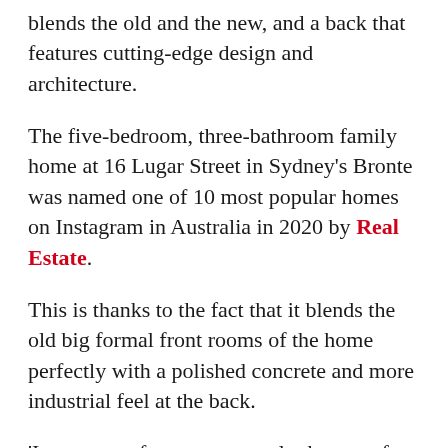blends the old and the new, and a back that features cutting-edge design and architecture.
The five-bedroom, three-bathroom family home at 16 Lugar Street in Sydney's Bronte was named one of 10 most popular homes on Instagram in Australia in 2020 by Real Estate.
This is thanks to the fact that it blends the old big formal front rooms of the home perfectly with a polished concrete and more industrial feel at the back.
'It was one of our most popular homes of this year because of the architectural mix,' real estate agent Alexander Phillips told FEMAIL.
It may look like a traditional Australian facade, but behind the front door of this old Victorian home